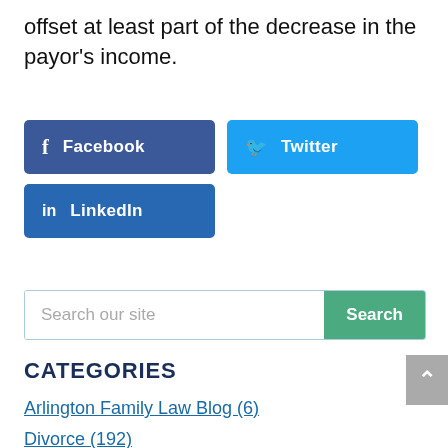offset at least part of the decrease in the payor's income.
[Figure (other): Social share buttons: Facebook (dark blue), Twitter (light blue), LinkedIn (dark blue)]
[Figure (other): Search bar with placeholder 'Search our site' and green Search button]
CATEGORIES
Arlington Family Law Blog (6)
Divorce (192)
Domestic Violence (6)
Firm News (5)